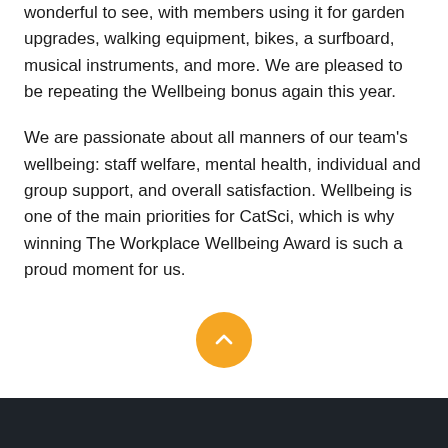wonderful to see, with members using it for garden upgrades, walking equipment, bikes, a surfboard, musical instruments, and more. We are pleased to be repeating the Wellbeing bonus again this year.
We are passionate about all manners of our team’s wellbeing: staff welfare, mental health, individual and group support, and overall satisfaction. Wellbeing is one of the main priorities for CatSci, which is why winning The Workplace Wellbeing Award is such a proud moment for us.
[Figure (other): Orange circular scroll-to-top button with an upward-pointing chevron arrow]